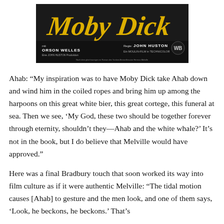[Figure (photo): Movie poster for Moby Dick featuring stylized yellow brush-script title lettering over a dark background, with text 'mit ORSON WELLES' and 'Regie: JOHN HUSTON', Warner Bros logo, and production credits in German.]
Ahab: “My inspiration was to have Moby Dick take Ahab down and wind him in the coiled ropes and bring him up among the harpoons on this great white bier, this great cortege, this funeral at sea. Then we see, ‘My God, these two should be together forever through eternity, shouldn’t they—Ahab and the white whale?’ It’s not in the book, but I do believe that Melville would have approved.”
Here was a final Bradbury touch that soon worked its way into film culture as if it were authentic Melville: “The tidal motion causes [Ahab] to gesture and the men look, and one of them says, ‘Look, he beckons, he beckons.’ That’s